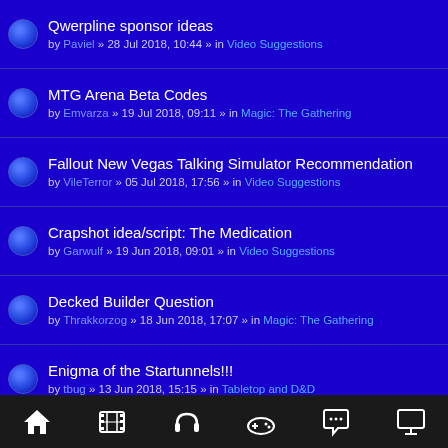Qwerpline sponsor ideas — by Paviel » 28 Jul 2018, 10:44 » in Video Suggestions
MTG Arena Beta Codes — by Emvarza » 19 Jul 2018, 09:11 » in Magic: The Gathering
Fallout New Vegas Talking Simulator Recommendation — by VileTerror » 05 Jul 2018, 17:56 » in Video Suggestions
Crapshot idea/script: The Medication — by Garwulf » 19 Jun 2018, 09:01 » in Video Suggestions
Decked Builder Question — by Thrakkorzog » 18 Jun 2018, 17:07 » in Magic: The Gathering
Enigma of the Startunnels!!! — by tbug » 13 Jun 2018, 15:15 » in Tabletop and D&D
Crapshot idea/script: The Regression 2 — by Garwulf » 06 Jun 2018, 19:26 » in Video Suggestions
Party Fowl: the game about Drunk Ducks! — by FlapjacksofWar » 05 Jun 2018, 05:43 » in Tabletop and D&D
Crapshot idea/script: The Carnival (partial, cut off)
Home | Film | Headphones | Games | Chat | Monitor icons